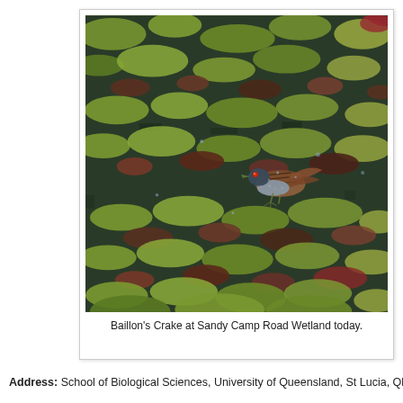[Figure (photo): A Baillon's Crake bird walking on lily pads at Sandy Camp Road Wetland. The small brown and grey bird with a red eye is visible in the centre-right of the image, surrounded by yellow-green and dark lily pads on water.]
Baillon's Crake at Sandy Camp Road Wetland today.
Address: School of Biological Sciences, University of Queensland, St Lucia, Qld 4072, Au